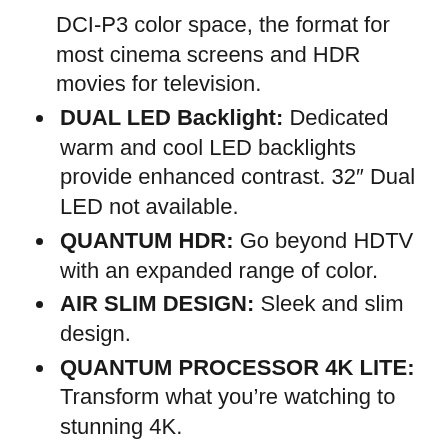DCI-P3 color space, the format for most cinema screens and HDR movies for television.
DUAL LED Backlight: Dedicated warm and cool LED backlights provide enhanced contrast. 32″ Dual LED not available.
QUANTUM HDR: Go beyond HDTV with an expanded range of color.
AIR SLIM DESIGN: Sleek and slim design.
QUANTUM PROCESSOR 4K LITE: Transform what you’re watching to stunning 4K.
ALEXA BUILT-IN: Ask more from your TV. Just ask Alexa to open apps, change the channel, search for movies and shows, play music, control your…